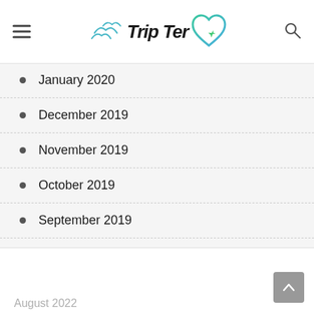Trip Ter — navigation header with logo
January 2020
December 2019
November 2019
October 2019
September 2019
August 2019
June 2019
March 2019
August 2022